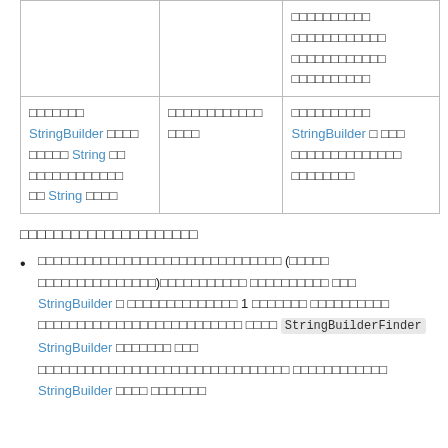|  |  | □□□□□□□□□□
□□□□□□□□□□□□
□□□□□□□□□□□□
□□□□□□□□□□ |
| □□□□□□□ StringBuilder □□□□
□□□□□ String □□
□□□□□□□□□□□□
□□ String □□□□ | □□□□□□□□□□□□
□□□□ | □□□□□□□□□□
StringBuilder □ □□□
□□□□□□□□□□□□□□
□□□□□□□□ |
□□□□□□□□□□□□□□□□□□□□□
□□□□□□□□□□□□□□□□□□□□□□□□□□□□□□□ (□□□□□
□□□□□□□□□□□□□□□)□□□□□□□□□□□ □□□□□□□□□□
□□□ StringBuilder □ □□□□□□□□□□□□□□ 1 □□□□□□□
□□□□□□□□□□ □□□□□□□□□□□□□□□□□□□□□□□□□□
□□□□ StringBuilderFinder StringBuilder □□□□□□□
□□□ □□□□□□□□□□□□□□□□□□□□□□□□□□□□□□□□
□□□□□□□□□□□□ StringBuilder □□□□ □□□□□□□